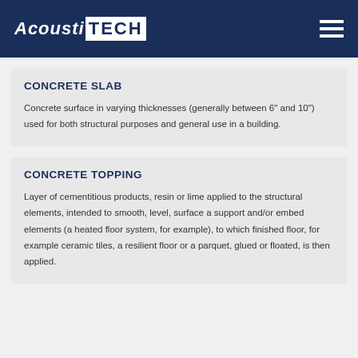AcoustiTECH
CONCRETE SLAB
Concrete surface in varying thicknesses (generally between 6" and 10") used for both structural purposes and general use in a building.
CONCRETE TOPPING
Layer of cementitious products, resin or lime applied to the structural elements, intended to smooth, level, surface a support and/or embed elements (a heated floor system, for example), to which finished floor, for example ceramic tiles, a resilient floor or a parquet, glued or floated, is then applied.